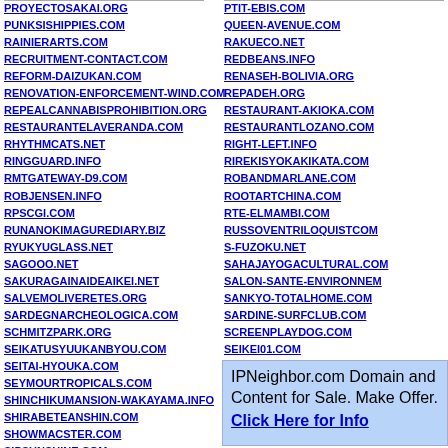PROYECTOSAKAI.ORG
PUNKSISHIPPIES.COM
RAINIERARTS.COM
RECRUITMENT-CONTACT.COM
REFORM-DAIZUKAN.COM
RENOVATION-ENFORCEMENT-WIND.COM
REPEALCANNABISPROHIBITION.ORG
RESTAURANTELAVERANDA.COM
RHYTHMCATS.NET
RINGGUARD.INFO
RMTGATEWAY-D9.COM
ROBJENSEN.INFO
RPSCGI.COM
RUNANOKIMAGUREDIARY.BIZ
RYUKYUGLASS.NET
SAGOOO.NET
SAKURAGAINAIDEAIKEI.NET
SALVEMOLIVERETES.ORG
SARDEGNARCHEOLOGICA.COM
SCHMITZPARK.ORG
SEIKATUSYUUKANBYOU.COM
SEITAI-HYOUKA.COM
SEYMOURTROPICALS.COM
SHINCHIKUMANSION-WAKAYAMA.INFO
SHIRABETEANSHIN.COM
SHOWMACSTER.COM
SIPSUNSHINE.COM
SKEK.NET
PTIT-EBIS.COM
QUEEN-AVENUE.COM
RAKUECO.NET
REDBEANS.INFO
RENASEH-BOLIVIA.ORG
REPADEH.ORG
RESTAURANT-AKIOKA.COM
RESTAURANTLOZANO.COM
RIGHT-LEFT.INFO
RIREKISYOKAKIKATA.COM
ROBANDMARLANE.COM
ROOTARTCHINA.COM
RTE-ELMAMBI.COM
RUSSOVENTRILOQUISTCOM
S-FUZOKU.NET
SAHAJAYOGACULTURAL.COM
SALON-SANTE-ENVIRONNEMENT
SANKYO-TOTALHOME.COM
SARDINE-SURFCLUB.COM
SCREENPLAYDOG.COM
SEIKEI01.COM
SERENABELLYNESIA.COM
SHEBCOFAIR.ORG
IPNeighbor.com Domain and Content for Sale. Make Offer. Click Here for Info